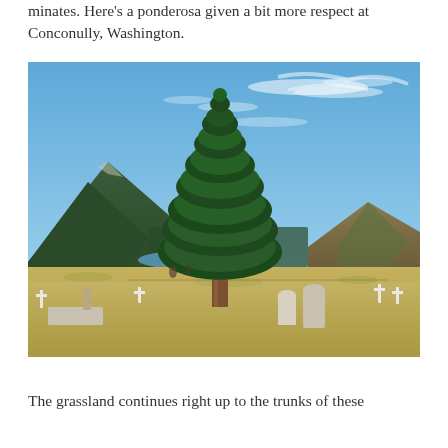minates. Here's a ponderosa given a bit more respect at Conconully, Washington.
[Figure (photo): A tall ponderosa pine tree standing prominently in a cemetery with white crosses and gravestones, backed by mountains and a lake under a blue sky with wispy clouds, at Conconully, Washington.]
The grassland continues right up to the trunks of these